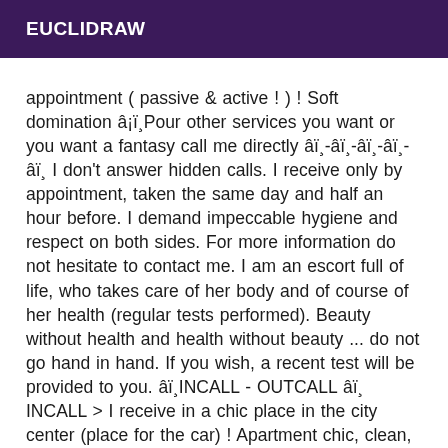EUCLIDRAW
appointment ( passive & active ! ) ! Soft domination â¡ï¸Pour other services you want or you want a fantasy call me directly âï¸-âï¸-âï¸-âï¸-âï¸ I don't answer hidden calls. I receive only by appointment, taken the same day and half an hour before. I demand impeccable hygiene and respect on both sides. For more information do not hesitate to contact me. I am an escort full of life, who takes care of her body and of course of her health (regular tests performed). Beauty without health and health without beauty ... do not go hand in hand. If you wish, a recent test will be provided to you. âï¸INCALL - OUTCALL âï¸ INCALL > I receive in a chic place in the city center (place for the car) ! Apartment chic, clean, discreet! ( shower at your disposal, clean towel ! ) âï¸-âï¸-âï¸-âï¸-âï¸ NON-NEGOTIABLE RATES Why not negotiable? Because I offer you a HIGH CLASS SERVICE from the way I look to the way I treat you, you won't regret it. Info âï¸ I don't keep any valuables or